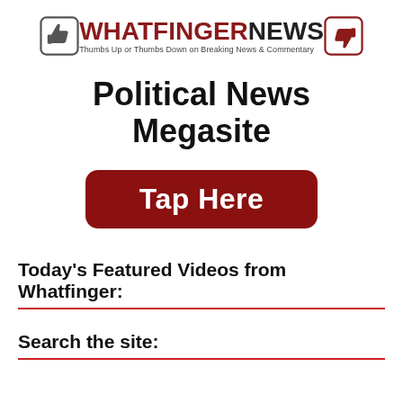[Figure (logo): Whatfinger News logo with thumbs up icon on left, thumbs down icon on right, text 'WHATFINGERNEWS' with tagline 'Thumbs Up or Thumbs Down on Breaking News & Commentary']
Political News Megasite
[Figure (other): Dark red rounded button with white bold text 'Tap Here']
Today's Featured Videos from Whatfinger:
Search the site: